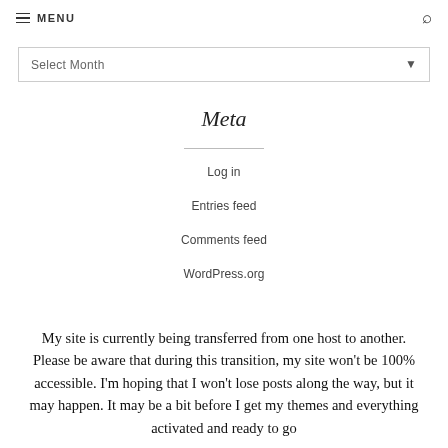MENU
Select Month
Meta
Log in
Entries feed
Comments feed
WordPress.org
My site is currently being transferred from one host to another. Please be aware that during this transition, my site won't be 100% accessible. I'm hoping that I won't lose posts along the way, but it may happen. It may be a bit before I get my themes and everything activated and ready to go